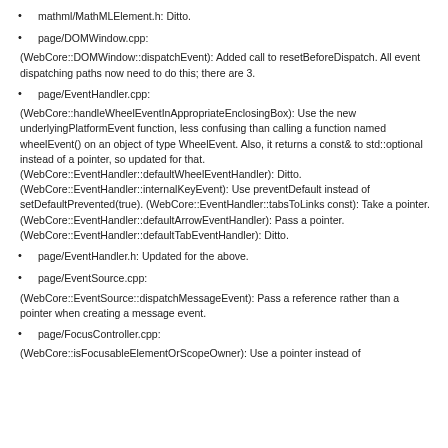mathml/MathMLElement.h: Ditto.
page/DOMWindow.cpp:
(WebCore::DOMWindow::dispatchEvent): Added call to resetBeforeDispatch. All event dispatching paths now need to do this; there are 3.
page/EventHandler.cpp:
(WebCore::handleWheelEventInAppropriateEnclosingBox): Use the new underlyingPlatformEvent function, less confusing than calling a function named wheelEvent() on an object of type WheelEvent. Also, it returns a const& to std::optional instead of a pointer, so updated for that. (WebCore::EventHandler::defaultWheelEventHandler): Ditto. (WebCore::EventHandler::internalKeyEvent): Use preventDefault instead of setDefaultPrevented(true). (WebCore::EventHandler::tabsToLinks const): Take a pointer. (WebCore::EventHandler::defaultArrowEventHandler): Pass a pointer. (WebCore::EventHandler::defaultTabEventHandler): Ditto.
page/EventHandler.h: Updated for the above.
page/EventSource.cpp:
(WebCore::EventSource::dispatchMessageEvent): Pass a reference rather than a pointer when creating a message event.
page/FocusController.cpp:
(WebCore::isFocusableElementOrScopeOwner): Use a pointer instead of